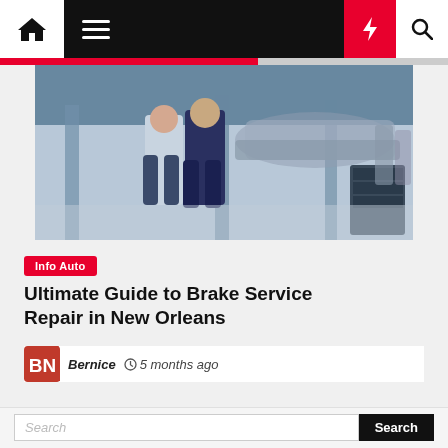Navigation bar with home icon, menu, moon icon, lightning/bolt icon, and search icon
[Figure (photo): Auto repair shop interior showing two people standing in a dealership/garage with a car and equipment visible in the background]
Info Auto
Ultimate Guide to Brake Service Repair in New Orleans
Bernice  5 months ago